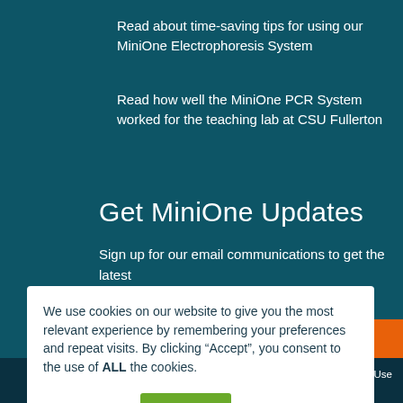Read about time-saving tips for using our MiniOne Electrophoresis System
Read how well the MiniOne PCR System worked for the teaching lab at CSU Fullerton
Get MiniOne Updates
Sign up for our email communications to get the latest updates from MiniOne Systems.
We use cookies on our website to give you the most relevant experience by remembering your preferences and repeat visits. By clicking “Accept”, you consent to the use of ALL the cookies.
Cookie settings   ACCEPT
ns of Use   Site Map   Get a Quote   Contact Us